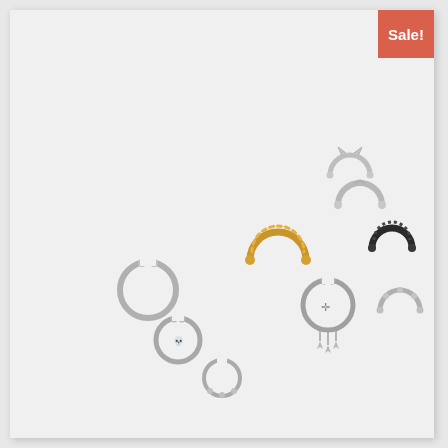[Figure (photo): Product photo of a set of 9 mixed ear cuff and hoop rings in silver, gold, and black tones, arranged on a light grey background. Rings include plain hoops, beaded rings, star charm rings, and textured designs.]
Sale!